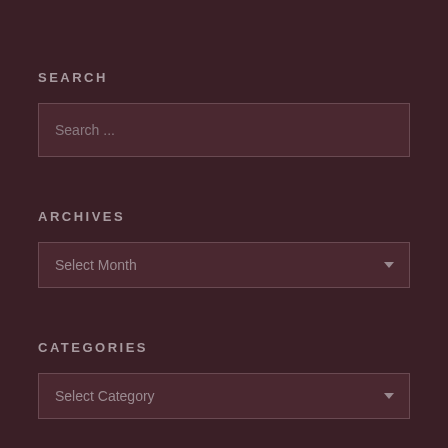SEARCH
[Figure (screenshot): Search input text box with placeholder text 'Search ...']
ARCHIVES
[Figure (screenshot): Dropdown select box labeled 'Select Month']
CATEGORIES
[Figure (screenshot): Dropdown select box labeled 'Select Category']